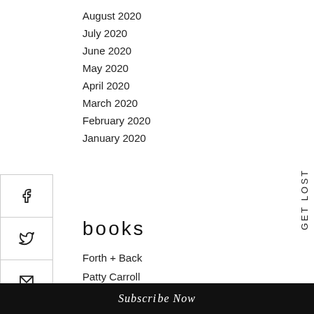August 2020
July 2020
June 2020
May 2020
April 2020
March 2020
February 2020
January 2020
books
Forth + Back
Patty Carroll
Evan Allan
Alana Celii
Christopher E. Manning
Subscribe Now